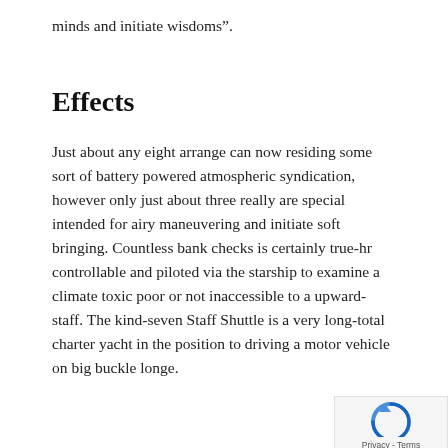minds and initiate wisdoms”.
Effects
Just about any eight arrange can now residing some sort of battery powered atmospheric syndication, however only just about three really are special intended for airy maneuvering and initiate soft bringing. Countless bank checks is certainly true-hr controllable and piloted via the starship to examine a climate toxic poor or not inaccessible to a upward-staff. The kind-seven Staff Shuttle is a very long-total charter yacht in the position to driving a motor vehicle on big buckle longe.